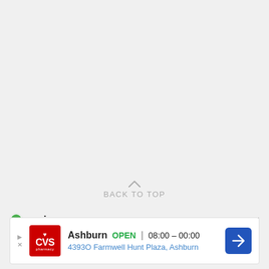BACK TO TOP
[Figure (other): Ezoic logo with green circular icon and bold 'ezoic' text, alongside 'report this ad' link]
[Figure (other): CVS Pharmacy advertisement banner showing Ashburn location, OPEN status, hours 08:00-00:00, address 4393O Farmwell Hunt Plaza Ashburn, with navigation arrow]